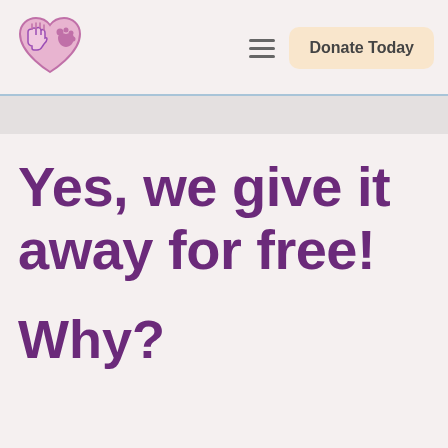[Figure (logo): Heart-shaped logo with a hand and paw print, outlined in purple/pink]
Donate Today
Yes, we give it away for free!
Why?